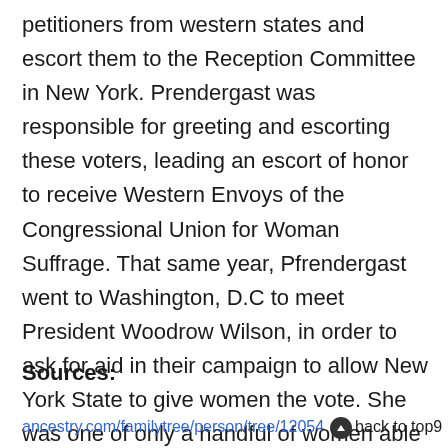petitioners from western states and escort them to the Reception Committee in New York. Prendergast was responsible for greeting and escorting these voters, leading an escort of honor to receive Western Envoys of the Congressional Union for Woman Suffrage. That same year, Pfrendergast went to Washington, D.C to meet President Woodrow Wilson, in order to ask for aid in their campaign to allow New York State to give women the vote. She was one of only a handful of women able to talk with the president. The 1915 suffrage campaign was unsuccessful, but in 1917, New York state's male voters approved a referendum for women's suffrage.
Sources:
ancestry.com/familytree/person/tree/12054...person/...9  back to top